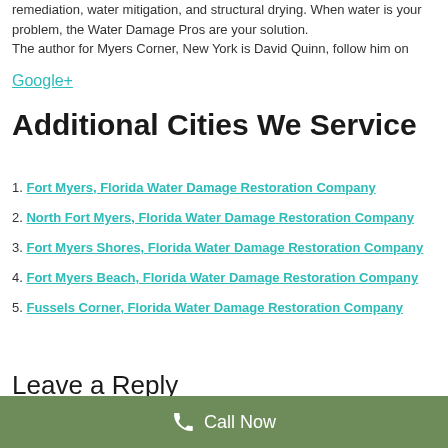remediation, water mitigation, and structural drying. When water is your problem, the Water Damage Pros are your solution. The author for Myers Corner, New York is David Quinn, follow him on
Google+
Additional Cities We Service
1. Fort Myers, Florida Water Damage Restoration Company
2. North Fort Myers, Florida Water Damage Restoration Company
3. Fort Myers Shores, Florida Water Damage Restoration Company
4. Fort Myers Beach, Florida Water Damage Restoration Company
5. Fussels Corner, Florida Water Damage Restoration Company
Leave a Reply
Call Now